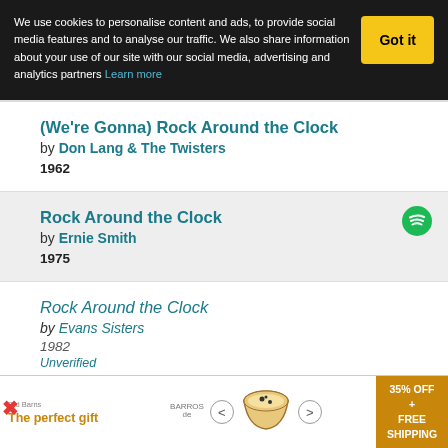We use cookies to personalise content and ads, to provide social media features and to analyse our traffic. We also share information about your use of our site with our social media, advertising and analytics partners Learn more
Rock Around the Clock by Don Lang & The Twisters 1962
Rock Around the Clock by Ernie Smith 1975
Rock Around the Clock by Evans Sisters 1982 Unverified
Rock Around the Clock